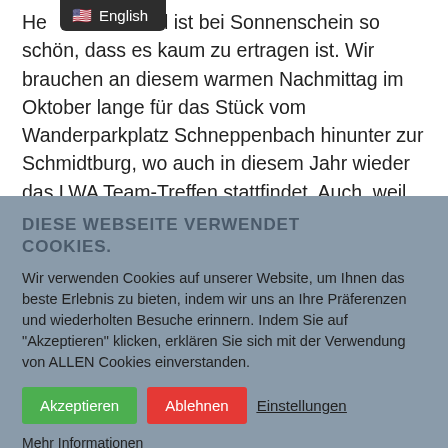He… Laubwald ist bei Sonnenschein so schön, dass es kaum zu ertragen ist. Wir brauchen an diesem warmen Nachmittag im Oktober lange für das Stück vom Wanderparkplatz Schneppenbach hinunter zur Schmidtburg, wo auch in diesem Jahr wieder das LWA Team-Treffen stattfindet. Auch, weil wir Johannes, der in diesem Jahr zum ersten Mal dabei ist – sowohl auf der…
DIESE WEBSEITE VERWENDET COOKIES.
Wir verwenden Cookies auf unserer Website, um Ihnen das beste Erlebnis zu bieten, indem wir uns an Ihre Präferenzen und wiederholten Besuche erinnern. Indem Sie auf "Akzeptieren" klicken, erklären Sie sich mit der Verwendung von ALLEN Cookies einverstanden.
Akzeptieren
Ablehnen
Einstellungen
Mehr Informationen